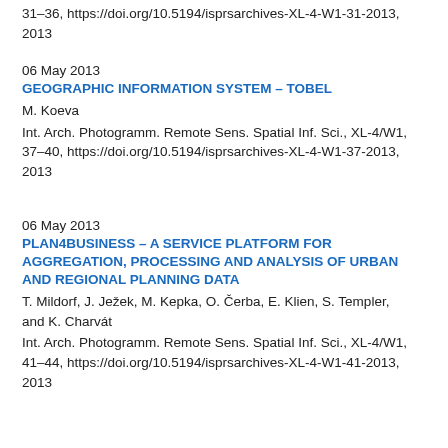31–36, https://doi.org/10.5194/isprsarchives-XL-4-W1-31-2013, 2013
06 May 2013
GEOGRAPHIC INFORMATION SYSTEM – TOBEL
M. Koeva
Int. Arch. Photogramm. Remote Sens. Spatial Inf. Sci., XL-4/W1, 37–40, https://doi.org/10.5194/isprsarchives-XL-4-W1-37-2013, 2013
06 May 2013
PLAN4BUSINESS – A SERVICE PLATFORM FOR AGGREGATION, PROCESSING AND ANALYSIS OF URBAN AND REGIONAL PLANNING DATA
T. Mildorf, J. Ježek, M. Kepka, O. Čerba, E. Klien, S. Templer, and K. Charvát
Int. Arch. Photogramm. Remote Sens. Spatial Inf. Sci., XL-4/W1, 41–44, https://doi.org/10.5194/isprsarchives-XL-4-W1-41-2013, 2013